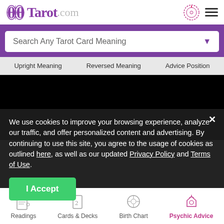Tarot.com
Search Any Tarot Card Meaning
Upright Meaning   Reversed Meaning   Advice Position
[Figure (screenshot): Black video/media area]
We use cookies to improve your browsing experience, analyze our traffic, and offer personalized content and advertising. By continuing to use this site, you agree to the usage of cookies as outlined here, as well as our updated Privacy Policy and Terms of Use.
I Accept
Readings   Cards & Decks   Birth Chart   Psychic Advice